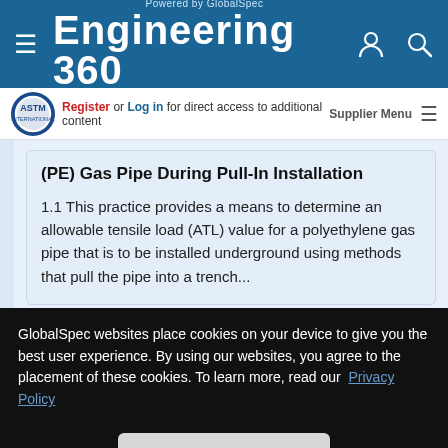Powered by GlobalSpec — Engineering 360
Register or Log in for direct access to additional content | Supplier Menu
(PE) Gas Pipe During Pull-In Installation
1.1 This practice provides a means to determine an allowable tensile load (ATL) value for a polyethylene gas pipe that is to be installed underground using methods that pull the pipe into a trench...
GlobalSpec websites place cookies on your device to give you the best user experience. By using our websites, you agree to the placement of these cookies. To learn more, read our Privacy Policy
Accept & Close